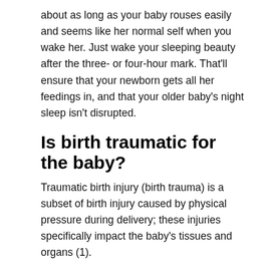about as long as your baby rouses easily and seems like her normal self when you wake her. Just wake your sleeping beauty after the three- or four-hour mark. That'll ensure that your newborn gets all her feedings in, and that your older baby's night sleep isn't disrupted.
Is birth traumatic for the baby?
Traumatic birth injury (birth trauma) is a subset of birth injury caused by physical pressure during delivery; these injuries specifically impact the baby's tissues and organs (1).
How long should a